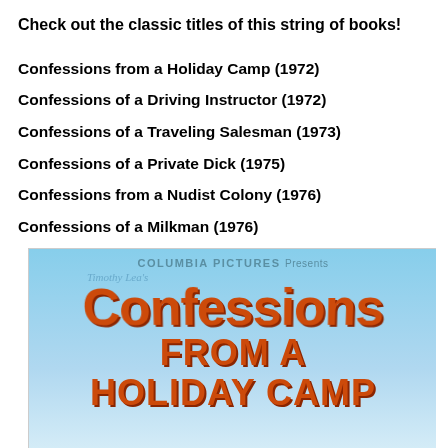Check out the classic titles of this string of books!
Confessions from a Holiday Camp (1972)
Confessions of a Driving Instructor (1972)
Confessions of a Traveling Salesman (1973)
Confessions of a Private Dick (1975)
Confessions from a Nudist Colony (1976)
Confessions of a Milkman (1976)
[Figure (photo): Movie poster for 'Confessions from a Holiday Camp' presented by Columbia Pictures, featuring stylized retro lettering with 'Timothy Lea's Confessions FROM A HOLIDAY CAMP' in large orange/brown letters on a light blue background]